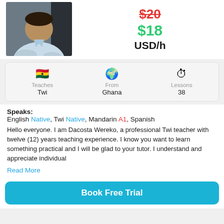[Figure (photo): Profile photo of a man in a light blue collared shirt, partially cropped at top]
$20 (strikethrough, red), $18 (green), USD/h
| 🇬🇭 Teaches Twi | 🌍 From Ghana | ⏱ Lessons 38 |
Speaks: English Native, Twi Native, Mandarin A1, Spanish
Hello everyone. I am Dacosta Wereko, a professional Twi teacher with twelve (12) years teaching experience. I know you want to learn something practical and I will be glad to your tutor. I understand and appreciate individual
Read More
Book Free Trial